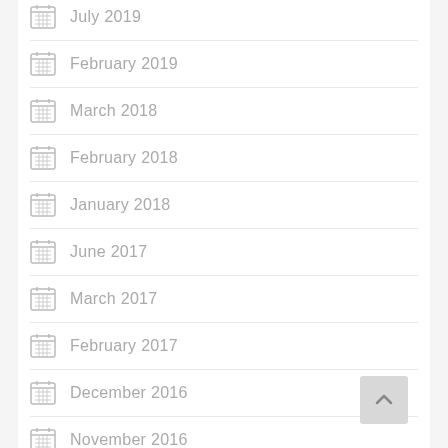July 2019
February 2019
March 2018
February 2018
January 2018
June 2017
March 2017
February 2017
December 2016
November 2016
October 2016
June 2016